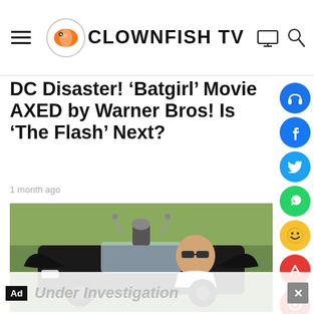Clownfish TV
DC Disaster! ‘Batgirl’ Movie AXED by Warner Bros! Is ‘The Flash’ Next?
1 month ago
[Figure (photo): Photo of a man in sunglasses sitting in a custom Batmobile replica vehicle]
TELEVISION
Sheriff Who Raided Batmobile Shop Now Under Investigation
2 weeks ago
Ad Under Investigation